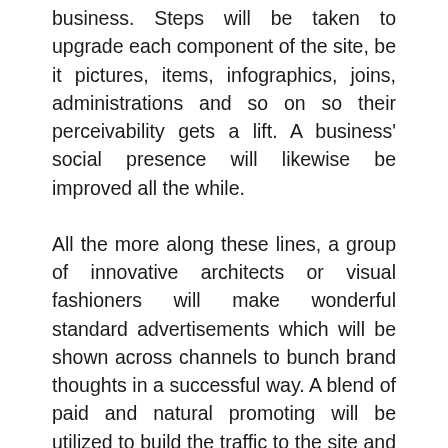business. Steps will be taken to upgrade each component of the site, be it pictures, items, infographics, joins, administrations and so on so their perceivability gets a lift. A business' social presence will likewise be improved all the while.
All the more along these lines, a group of innovative architects or visual fashioners will make wonderful standard advertisements which will be shown across channels to bunch brand thoughts in a successful way. A blend of paid and natural promoting will be utilized to build the traffic to the site and support its odds of coming out on top. Moreover, the right catchphrases are utilized to rank items and administrations of the business and quality substance is utilized to make them rank better in web crawlers. Advertisers watch out for movements of every kind and use investigation to give a definite report to the business. Thusly, businesses get